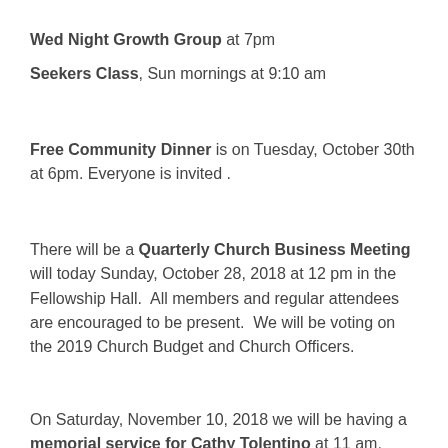Wed Night Growth Group at 7pm
Seekers Class, Sun mornings at 9:10 am
Free Community Dinner is on Tuesday, October 30th at 6pm. Everyone is invited .
There will be a Quarterly Church Business Meeting will today Sunday, October 28, 2018 at 12 pm in the Fellowship Hall.  All members and regular attendees are encouraged to be present.  We will be voting on the 2019 Church Budget and Church Officers.
On Saturday, November 10, 2018 we will be having a memorial service for Cathy Tolentino at 11 am.